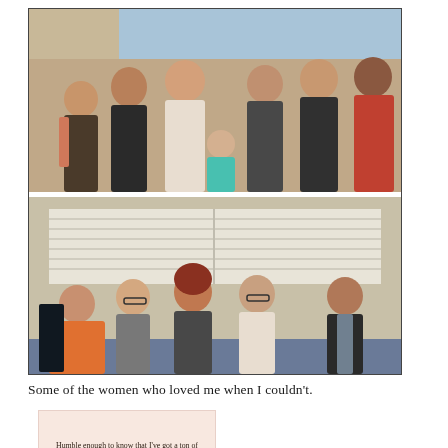[Figure (photo): Two group photos stacked vertically. Top photo: seven women and one young girl posing together indoors. Bottom photo: five women sitting together on a couch in front of window blinds.]
Some of the women who loved me when I couldn't.
[Figure (photo): Pink/light-colored image with text quote: 'Humble enough to know that I've got a ton of flaws. But wise enough to know that my heart is pure and my soul is as dope as they come.']